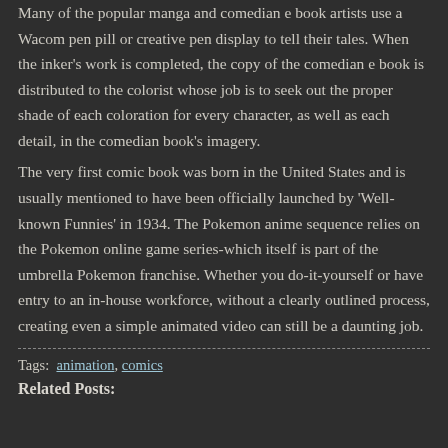Many of the popular manga and comedian e book artists use a Wacom pen pill or creative pen display to tell their tales. When the inker's work is completed, the copy of the comedian e book is distributed to the colorist whose job is to seek out the proper shade of each coloration for every character, as well as each detail, in the comedian book's imagery.
The very first comic book was born in the United States and is usually mentioned to have been officially launched by 'Well-known Funnies' in 1934. The Pokemon anime sequence relies on the Pokemon online game series-which itself is part of the umbrella Pokemon franchise. Whether you do-it-yourself or have entry to an in-house workforce, without a clearly outlined process, creating even a simple animated video can still be a daunting job.
Tags: animation, comics
Related Posts: